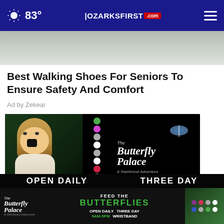83° | OZARKSFIRST.com
[Figure (photo): Top cropped image of a person, partially visible]
Best Walking Shoes For Seniors To Ensure Safety And Comfort
Ad by  Zekear
[Figure (photo): The Butterfly Palace & Rainforest Adventure advertisement showing a young excited girl pointing at colorful dots, with butterfly logo and text on black background]
[Figure (photo): Bottom banner ad for The Butterfly Palace: FEED THE BUTTERFLIES - OPEN DAILY 9AM-5PM THREE DAY WRISTBAND]